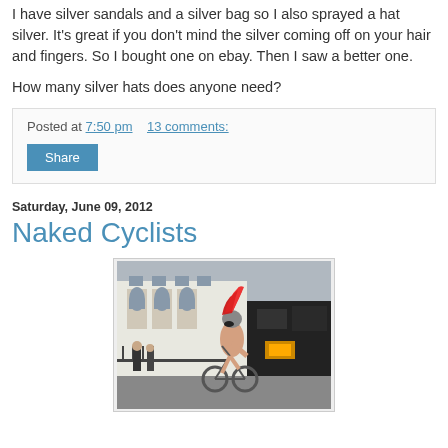I have silver sandals and a silver bag so I also sprayed a hat silver. It's great if you don't mind the silver coming off on your hair and fingers. So I bought one on ebay. Then I saw a better one.

How many silver hats does anyone need?
Posted at 7:50 pm    13 comments:
Share
Saturday, June 09, 2012
Naked Cyclists
[Figure (photo): A person with a red feathered helmet riding a bicycle on a city street, shirtless, next to a vehicle, with white Georgian buildings in the background and pedestrians.]